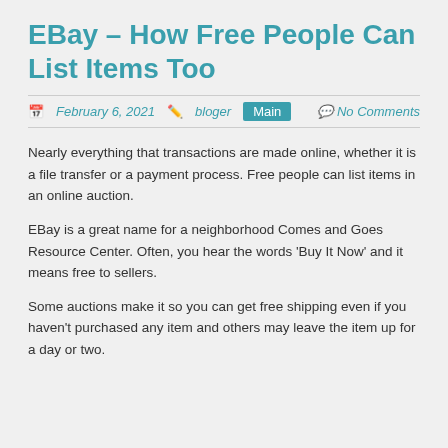EBay – How Free People Can List Items Too
February 6, 2021  bloger  Main  No Comments
Nearly everything that transactions are made online, whether it is a file transfer or a payment process. Free people can list items in an online auction.
EBay is a great name for a neighborhood Comes and Goes Resource Center. Often, you hear the words 'Buy It Now' and it means free to sellers.
Some auctions make it so you can get free shipping even if you haven't purchased any item and others may leave the item up for a day or two.